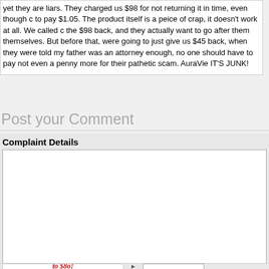yet they are liars. They charged us $98 for not returning it in time, even though c to pay $1.05. The product itself is a peice of crap, it doesn't work at all. We called c the $98 back, and they actually want to go after them themselves. But before that, were going to just give us $45 back, when they were told my father was an attorne enough, no one should have to pay not even a penny more for their pathetic scam. AuraVie IT'S JUNK!
Post your Comment
Complaint Details
[Figure (other): Bottom strip with red stylized text art and arrow graphic and input box]